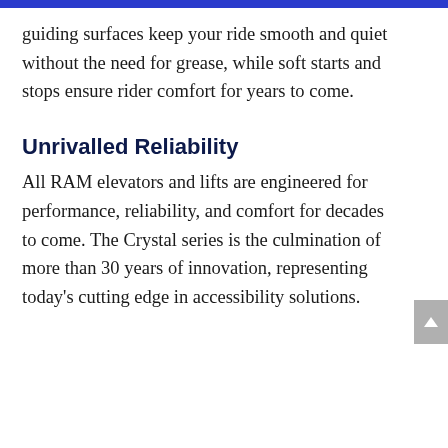guiding surfaces keep your ride smooth and quiet without the need for grease, while soft starts and stops ensure rider comfort for years to come.
Unrivalled Reliability
All RAM elevators and lifts are engineered for performance, reliability, and comfort for decades to come. The Crystal series is the culmination of more than 30 years of innovation, representing today's cutting edge in accessibility solutions.